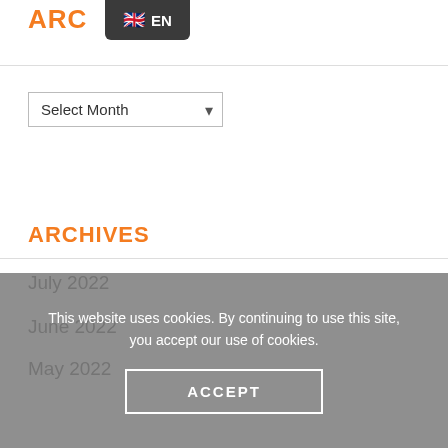ARC
🇬🇧 EN
Select Month
ARCHIVES
July 2022
June 2022
May 2022
This website uses cookies. By continuing to use this site, you accept our use of cookies.
ACCEPT